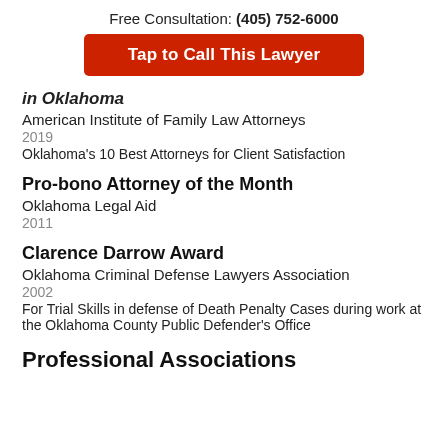Free Consultation: (405) 752-6000
Tap to Call This Lawyer
in Oklahoma
American Institute of Family Law Attorneys
2019
Oklahoma's 10 Best Attorneys for Client Satisfaction
Pro-bono Attorney of the Month
Oklahoma Legal Aid
2011
Clarence Darrow Award
Oklahoma Criminal Defense Lawyers Association
2002
For Trial Skills in defense of Death Penalty Cases during work at the Oklahoma County Public Defender's Office
Professional Associations